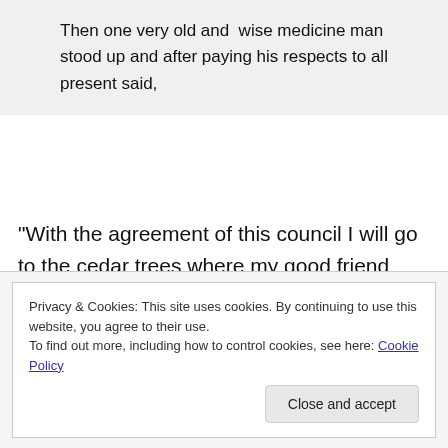Then one very old and  wise medicine man stood up and after paying his respects to all present said,
“With the agreement of this council I will go to the cedar trees where my good friend Raven lives and ask him for his counsel.   He is very wise and knowledgeable and I ask permission to bring him before the Council and seek his advice.”
Privacy & Cookies: This site uses cookies. By continuing to use this website, you agree to their use. To find out more, including how to control cookies, see here: Cookie Policy